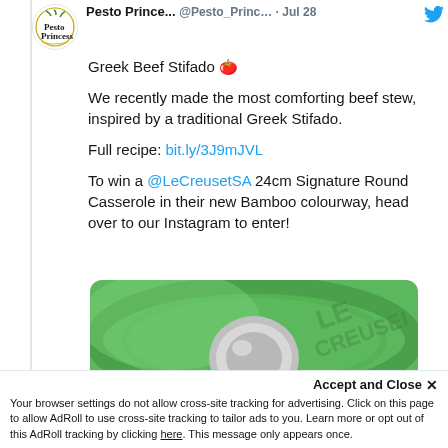Pesto Prince... @Pesto_Princ... · Jul 28
Greek Beef Stifado 🍅
We recently made the most comforting beef stew, inspired by a traditional Greek Stifado.
Full recipe: bit.ly/3J9mJVL
To win a @LeCreusetSA 24cm Signature Round Casserole in their new Bamboo colourway, head over to our Instagram to enter!
[Figure (photo): Close-up photo of a bright green Le Creuset round casserole dish lid with a silver knob, with a blue circular icon partially visible at the bottom.]
Accept and Close ✕
Your browser settings do not allow cross-site tracking for advertising. Click on this page to allow AdRoll to use cross-site tracking to tailor ads to you. Learn more or opt out of this AdRoll tracking by clicking here. This message only appears once.